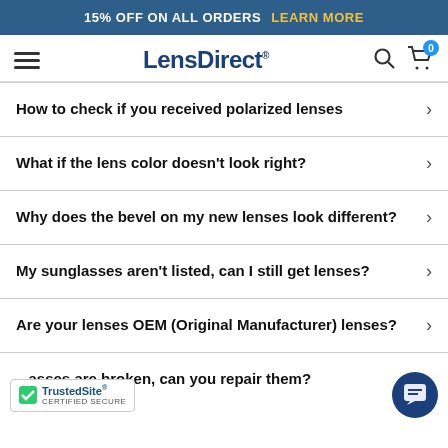15% OFF ON ALL ORDERS  LEARN MORE
[Figure (logo): LensDirect logo with hamburger menu, search icon, and cart icon showing 0 items]
How to check if you received polarized lenses
What if the lens color doesn't look right?
Why does the bevel on my new lenses look different?
My sunglasses aren't listed, can I still get lenses?
Are your lenses OEM (Original Manufacturer) lenses?
...asses are broken, can you repair them?
[Figure (logo): TrustedSite CERTIFIED SECURE badge]
[Figure (other): Chat button icon (dark blue circle with message icon)]